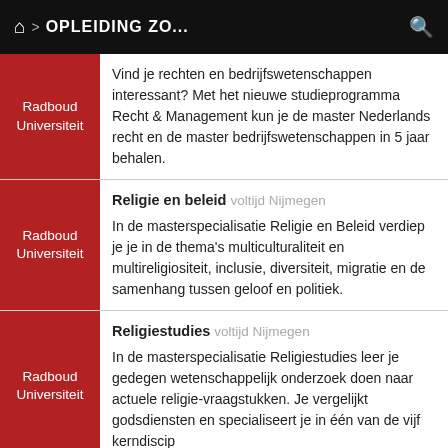OPLEIDING ZO...
| Instelling | Opleiding |
| --- | --- |
| Radboud Universiteit | Vind je rechten en bedrijfswetenschappen interessant? Met het nieuwe studieprogramma Recht & Management kun je de master Nederlands recht en de master bedrijfswetenschappen in 5 jaar behalen. |
| Radboud Universiteit | Religie en beleid voltijd Nijmegen
In de masterspecialisatie Religie en Beleid verdiep je je in de thema's multiculturaliteit en multireligiositeit, inclusie, diversiteit, migratie en de samenhang tussen geloof en politiek. |
| Radboud Universiteit | Religiestudies voltijd Nijmegen
In de masterspecialisatie Religiestudies leer je gedegen wetenschappelijk onderzoek doen naar actuele religie-vraagstukken. Je vergelijkt godsdiensten en specialiseert je in één van de vijf kerndiscip |